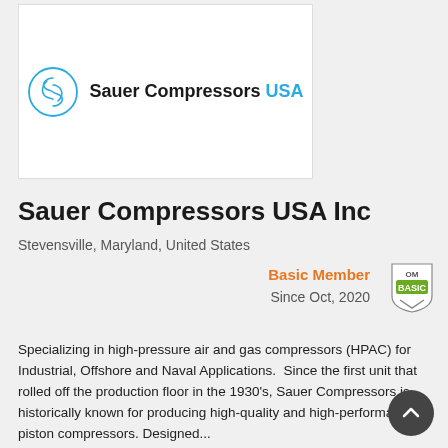[Figure (logo): Sauer Compressors USA logo — circular stylized S icon in light blue, followed by bold text 'Sauer Compressors' in dark/black and 'USA' in light blue]
Sauer Compressors USA Inc
Stevensville, Maryland, United States
Basic Member
Since Oct, 2020
Specializing in high-pressure air and gas compressors (HPAC) for Industrial, Offshore and Naval Applications.  Since the first unit that rolled off the production floor in the 1930's, Sauer Compressors is historically known for producing high-quality and high-performance piston compressors. Designed...